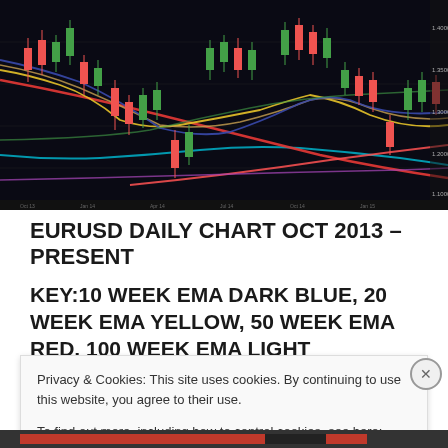[Figure (continuous-plot): EURUSD daily candlestick chart from Oct 2013 to present, with multiple EMA lines (dark blue 10-week, yellow 20-week, red 50-week, light blue 100-week) overlaid on a dark background. Shows green and red candlesticks with several crossing EMA curves and two red diagonal trendlines converging in the middle-right area.]
EURUSD DAILY CHART OCT 2013 – PRESENT
KEY:10 WEEK EMA DARK BLUE, 20 WEEK EMA YELLOW, 50 WEEK EMA RED, 100 WEEK EMA LIGHT
Privacy & Cookies: This site uses cookies. By continuing to use this website, you agree to their use.
To find out more, including how to control cookies, see here: Cookie Policy
Close and accept